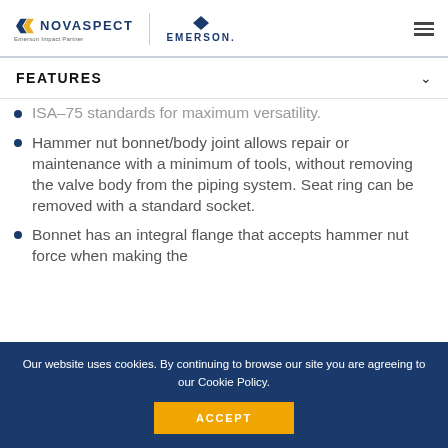NOVASPECT Emerson Impact Partner | EMERSON
FEATURES
ISA-75 standards for maximum versatility.
Hammer nut bonnet/body joint allows repair or maintenance with a minimum of tools, without removing the valve body from the piping system. Seat ring can be removed with a standard socket.
Bonnet has an integral flange that accepts hammer nut force when making the bonnet-to-body connection. The
Our website uses cookies. By continuing to browse our site you are agreeing to our Cookie Policy.